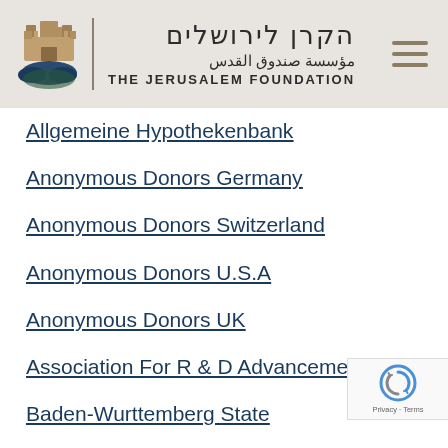[Figure (logo): The Jerusalem Foundation logo with Hebrew text הקרן לירושלים, Arabic text مؤسسة صندوق القدس, and English text THE JERUSALEM FOUNDATION, with a castle/city icon and a hamburger menu icon]
Allgemeine Hypothekenbank
Anonymous Donors Germany
Anonymous Donors Switzerland
Anonymous Donors U.S.A
Anonymous Donors UK
Association For R & D Advancement
Baden-Wurttemberg State